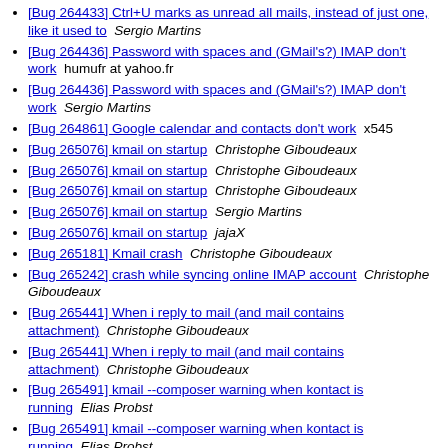[Bug 264433] Ctrl+U marks as unread all mails, instead of just one, like it used to   Sergio Martins
[Bug 264436] Password with spaces and (GMail's?) IMAP don't work   humufr at yahoo.fr
[Bug 264436] Password with spaces and (GMail's?) IMAP don't work   Sergio Martins
[Bug 264861] Google calendar and contacts don't work   x545
[Bug 265076] kmail on startup   Christophe Giboudeaux
[Bug 265076] kmail on startup   Christophe Giboudeaux
[Bug 265076] kmail on startup   Christophe Giboudeaux
[Bug 265076] kmail on startup   Sergio Martins
[Bug 265076] kmail on startup   jajaX
[Bug 265181] Kmail crash   Christophe Giboudeaux
[Bug 265242] crash while syncing online IMAP account   Christophe Giboudeaux
[Bug 265441] When i reply to mail (and mail contains attachment)   Christophe Giboudeaux
[Bug 265441] When i reply to mail (and mail contains attachment)   Christophe Giboudeaux
[Bug 265491] kmail --composer warning when kontact is running   Elias Probst
[Bug 265491] kmail --composer warning when kontact is running   Elias Probst
[Bug 265491] kmail --composer warning when kontact is